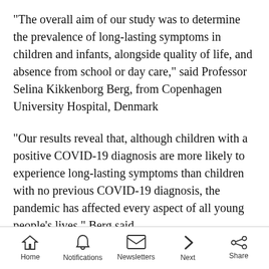"The overall aim of our study was to determine the prevalence of long-lasting symptoms in children and infants, alongside quality of life, and absence from school or day care," said Professor Selina Kikkenborg Berg, from Copenhagen University Hospital, Denmark
"Our results reveal that, although children with a positive COVID-19 diagnosis are more likely to experience long-lasting symptoms than children with no previous COVID-19 diagnosis, the pandemic has affected every aspect of all young people's lives," Berg said.
Home | Notifications | Newsletters | Next | Share